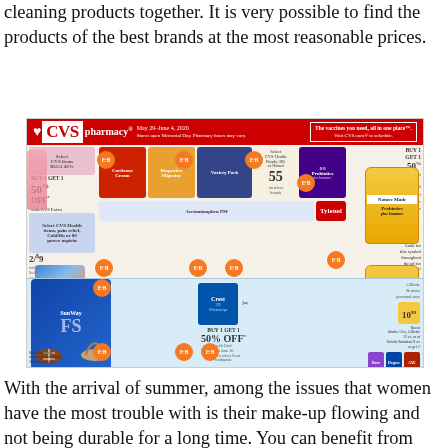cleaning products together. It is very possible to find the products of the best brands at the most reasonable prices.
[Figure (photo): CVS Pharmacy weekly ad flyer showing ExtraBucks Rewards promotion: spend $30 get $10 or spend $45 get $15 ExtraBucks Rewards. Features Nature Made vitamins, summer health products, women's products, and summer seasonal items. Header reads 'A healthier summer starts here'. Dates May 29-June 4, 2020.]
With the arrival of summer, among the issues that women have the most trouble with is their make-up flowing and not being durable for a long time. You can benefit from tremendous methods to make your